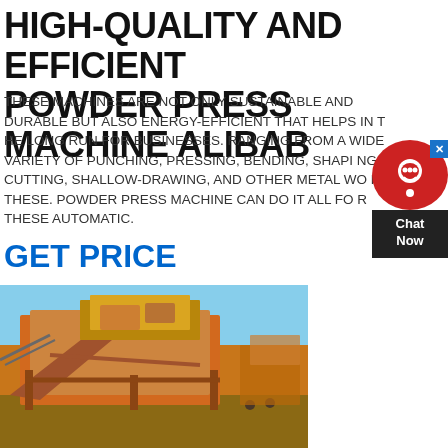HIGH-QUALITY AND EFFICIENT POWDER PRESS MACHINE ALIBABA
THESE MACHINES ARE NOT ONLY SUSTAINABLE AND DURABLE BUT ALSO ENERGY-EFFICIENT THAT HELPS IN THE LONG RUN FOR BUSINESSES. RANGING FROM A WIDE VARIETY OF PUNCHING, PRESSING, BENDING, SHAPING, CUTTING, SHALLOW-DRAWING, AND OTHER METAL WORKS THESE. POWDER PRESS MACHINE CAN DO IT ALL FOR THESE AUTOMATIC.
GET PRICE
[Figure (photo): Large orange industrial powder press / crushing machine outdoors against a blue sky background, with visible structural steel framework and conveyor components.]